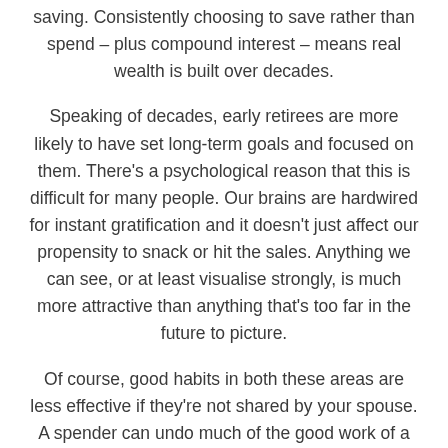saving. Consistently choosing to save rather than spend – plus compound interest – means real wealth is built over decades.
Speaking of decades, early retirees are more likely to have set long-term goals and focused on them. There's a psychological reason that this is difficult for many people. Our brains are hardwired for instant gratification and it doesn't just affect our propensity to snack or hit the sales. Anything we can see, or at least visualise strongly, is much more attractive than anything that's too far in the future to picture.
Of course, good habits in both these areas are less effective if they're not shared by your spouse. A spender can undo much of the good work of a saver, even if their finances are not completely intertwined.
Then, there's the advice factor. That study also found that those who retired early were more than twice as